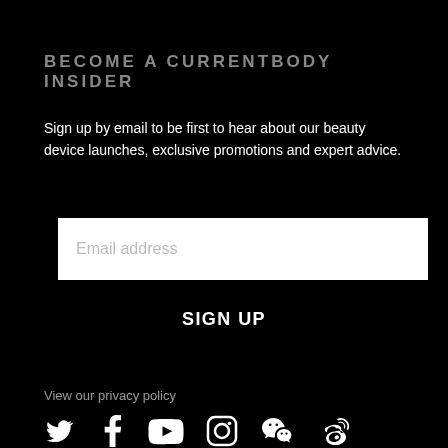BECOME A CURRENTBODY INSIDER
Sign up by email to be first to hear about our beauty device launches, exclusive promotions and expert advice.
Email address
SIGN UP
View our privacy policy
[Figure (illustration): Social media icons row: Twitter, Facebook, YouTube, Instagram, WeChat, Weibo]
EXPERT ADVICE & SUPPORT